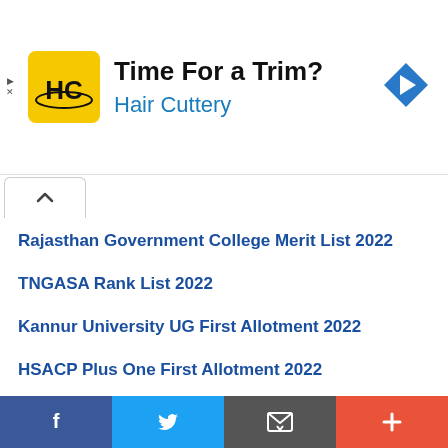[Figure (advertisement): Hair Cuttery advertisement banner with logo and 'Time For a Trim?' text]
Rajasthan Government College Merit List 2022
TNGASA Rank List 2022
Kannur University UG First Allotment 2022
HSACP Plus One First Allotment 2022
FYJC Merit List 2022
IIIT Basara 1st Selection List 2022
TN RTE Selection List 2022